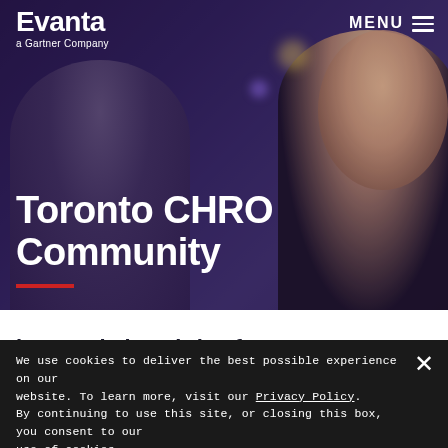[Figure (photo): Hero image showing people networking at a professional event, with a dark purple/blue tinted overlay. Two people visible from behind in foreground, a smiling woman visible on the right side.]
Evanta
a Gartner Company
MENU
Toronto CHRO Community
We use cookies to deliver the best possible experience on our website. To learn more, visit our Privacy Policy. By continuing to use this site, or closing this box, you consent to our use of cookies.